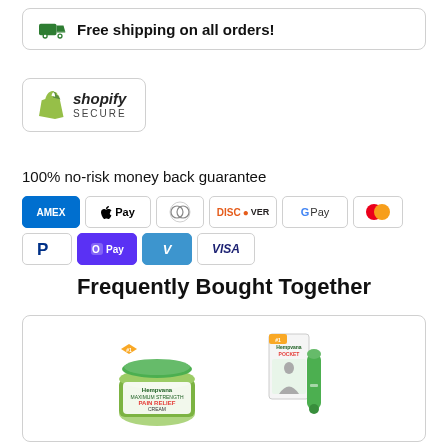Free shipping on all orders!
[Figure (logo): Shopify Secure badge with green bag icon]
100% no-risk money back guarantee
[Figure (infographic): Payment method icons: AMEX, Apple Pay, Diners Club, Discover, Google Pay, Mastercard, PayPal, OPay, Venmo, Visa]
Frequently Bought Together
[Figure (photo): Two product images: Hempvana Pain Relief Cream and Hempvana Pocket device, shown side by side in a card]